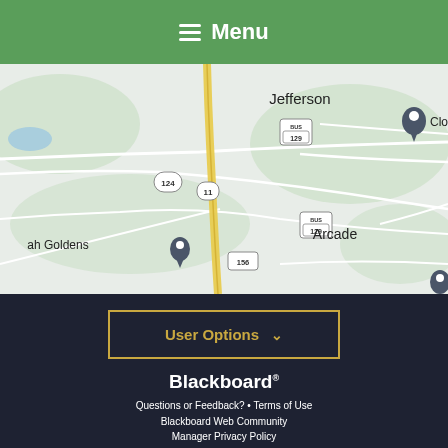Menu
[Figure (map): Google-style road map showing Jefferson, Arcade, route 124, 11, 129 (BUS), and 156 with location pins for Cloverdale area and ah Goldens. A yellow highlighted road runs vertically through the map.]
User Options
Blackboard
Questions or Feedback? • Terms of Use Blackboard Web Community Manager Privacy Policy (Updated) Copyright © 2002-2022 Blackboard, Inc. All rights reserved.